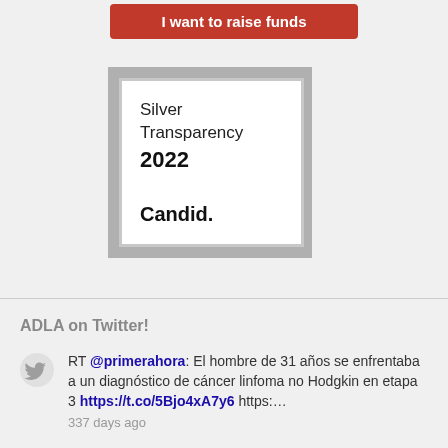[Figure (other): Red button labeled 'I want to raise funds']
[Figure (other): Silver Transparency 2022 Candid badge — outer grey border, inner white box with text: Silver Transparency 2022 Candid.]
ADLA on Twitter!
RT @primerahora: El hombre de 31 años se enfrentaba a un diagnóstico de cáncer linfoma no Hodgkin en etapa 3 https://t.co/5Bjo4xA7y6 https:…
337 days ago